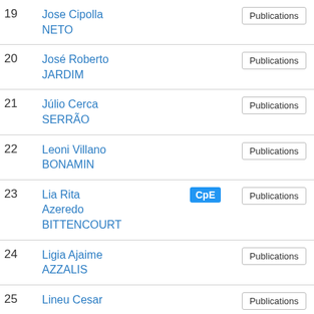| # | Name |  | Publications | Area |
| --- | --- | --- | --- | --- |
| 19 | Jose Cipolla NETO |  | Publications | Ciên Biló |
| 20 | José Roberto JARDIM |  | Publications | Ciên Biló |
| 21 | Júlio Cerca SERRÃO |  | Publications | Ciên Biló |
| 22 | Leoni Villano BONAMIN |  | Publications | Ciên Agrá |
| 23 | Lia Rita Azeredo BITTENCOURT | CpE | Publications | Ciên da S |
| 24 | Ligia Ajaime AZZALIS |  | Publications | Ciên Hum |
| 25 | Lineu Cesar |  | Publications | Ciên |